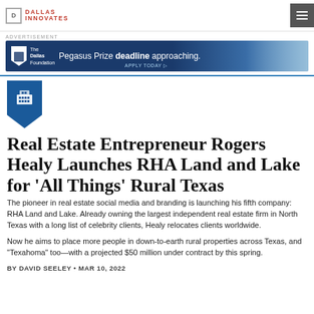DALLAS INNOVATES
[Figure (illustration): Advertisement banner for The Dallas Foundation: Pegasus Prize deadline approaching. Apply Today.]
[Figure (illustration): Blue pentagon/shield icon badge with a building/grid icon inside]
Real Estate Entrepreneur Rogers Healy Launches RHA Land and Lake for ‘All Things’ Rural Texas
The pioneer in real estate social media and branding is launching his fifth company: RHA Land and Lake. Already owning the largest independent real estate firm in North Texas with a long list of celebrity clients, Healy relocates clients worldwide.
Now he aims to place more people in down-to-earth rural properties across Texas, and "Texahoma" too—with a projected $50 million under contract by this spring.
BY DAVID SEELEY • MAR 10, 2022